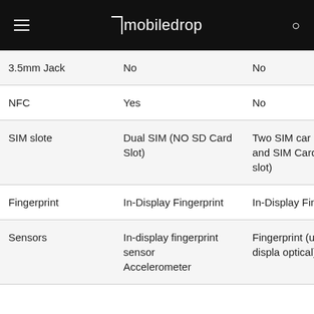mobiledrop
| Feature | Device 1 | Device 2 |
| --- | --- | --- |
| 3.5mm Jack | No | No |
| NFC | Yes | No |
| SIM slote | Dual SIM (NO SD Card Slot) | Two SIM car... SD Card and SIM Card (hy sim slot) |
| Fingerprint | In-Display Fingerprint | In-Display Fingerprint |
| Sensors | In-display fingerprint sensor
Accelerometer | Fingerprint (under displa optical), |